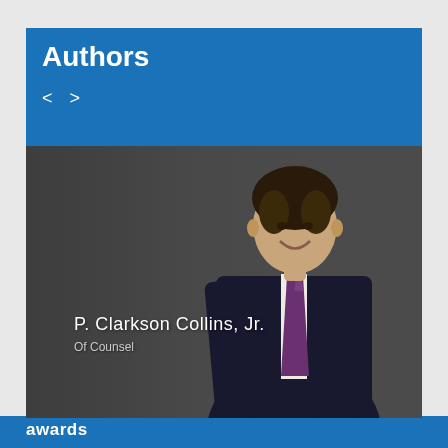Authors
< >
[Figure (photo): Professional headshot of P. Clarkson Collins, Jr. — a man in a dark suit with a patterned tie, smiling, against a dark gray background. His name and title appear in the lower-left of the image.]
P. Clarkson Collins, Jr.
Of Counsel
awards